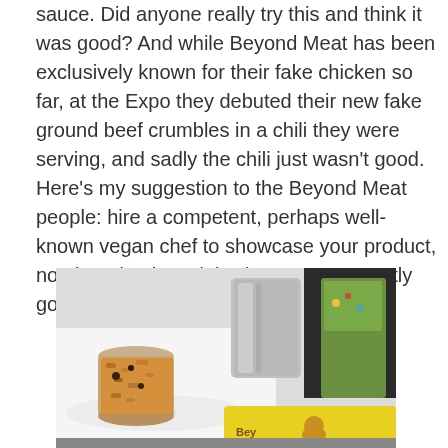sauce. Did anyone really try this and think it was good? And while Beyond Meat has been exclusively known for their fake chicken so far, at the Expo they debuted their new fake ground beef crumbles in a chili they were serving, and sadly the chili just wasn't good. Here's my suggestion to the Beyond Meat people: hire a competent, perhaps well-known vegan chef to showcase your product, not the talentless dolt who you've currently got under contract.
[Figure (photo): Photo of a food expo booth showing a small plastic cup filled with chili/food crumbles beside a white spoon on a plate, a silver metal cup in the background, and a yellow sign with a chicken logo at the bottom, partially reading 'Bey...' (Beyond Meat branding).]